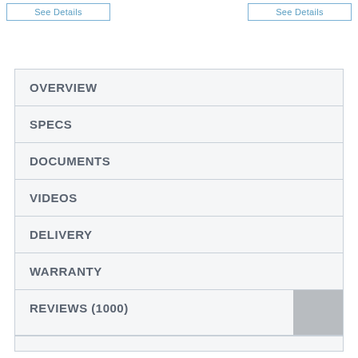See Details (button 1)
See Details (button 2)
OVERVIEW
SPECS
DOCUMENTS
VIDEOS
DELIVERY
WARRANTY
REVIEWS (1000)